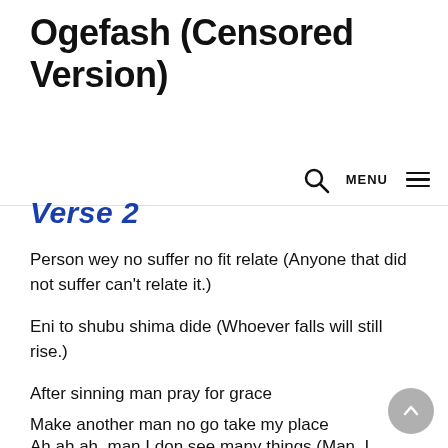Ogefash (Censored Version)
MENU
Verse 2
Person wey no suffer no fit relate (Anyone that did not suffer can’t relate it.)
Eni to shubu shima dide (Whoever falls will still rise.)
After sinning man pray for grace
Make another man no go take my place
Ah ah ah, man I don see many things (Man, I...